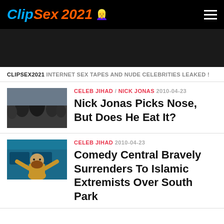ClipSex 2021
CLIPSEX2021 INTERNET SEX TAPES AND NUDE CELEBRITIES LEAKED !
[Figure (photo): Thumbnail photo of Nick Jonas with others in background]
CELEB JIHAD / NICK JONAS 2010-04-23
Nick Jonas Picks Nose, But Does He Eat It?
[Figure (illustration): Cartoon illustration of a Muslim character in front of a train]
CELEB JIHAD 2010-04-23
Comedy Central Bravely Surrenders To Islamic Extremists Over South Park